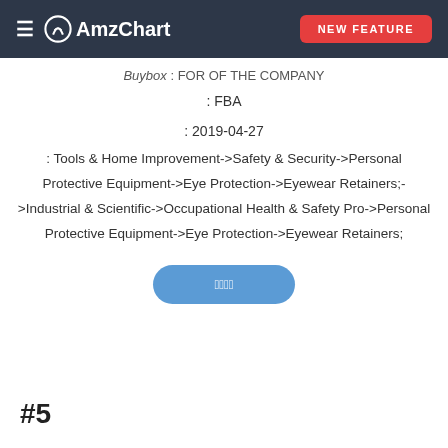AmzChart NEW FEATURE
Buybox : FOR OF THE COMPANY
: FBA
: 2019-04-27
: Tools & Home Improvement->Safety & Security->Personal Protective Equipment->Eye Protection->Eyewear Retainers;->Industrial & Scientific->Occupational Health & Safety Pro->Personal Protective Equipment->Eye Protection->Eyewear Retainers;
[Figure (other): Blue pill-shaped button with Japanese/Chinese characters]
#5